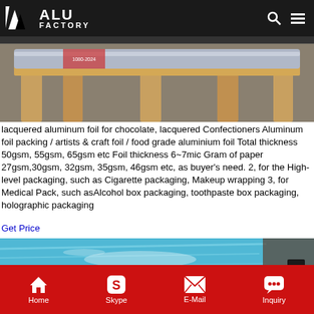ALU FACTORY
[Figure (photo): Rolls of aluminum foil on wooden pallets in a warehouse/factory floor]
lacquered aluminum foil for chocolate, lacquered Confectioners Aluminum foil packing / artists & craft foil / food grade aluminium foil Total thickness 50gsm, 55gsm, 65gsm etc Foil thickness 6~7mic Gram of paper 27gsm,30gsm, 32gsm, 35gsm, 46gsm etc, as buyer's need. 2, for the High-level packaging, such as Cigarette packaging, Makeup wrapping 3, for Medical Pack, such asAlcohol box packaging, toothpaste box packaging, holographic packaging
Get Price
[Figure (photo): Blue aluminum foil sheet or coil on a factory floor with person's feet visible]
Home  Skype  E-Mail  Inquiry